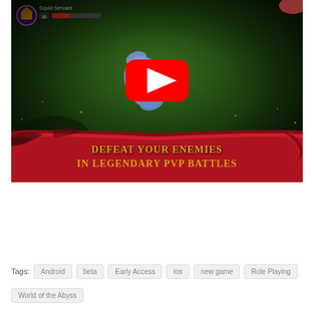[Figure (screenshot): YouTube video thumbnail for a mobile RPG game showing 'Squid Servant' enemy with level 20 health bar, a blue weapon/item, a YouTube play button, and a red banner reading 'DEFEAT YOUR ENEMIES IN LEGENDARY PVP BATTLES' on a dark green mystical background with sparkles]
Tags: Android  beta  Early Access  ios  new game  Role Playing  World of the Abyss